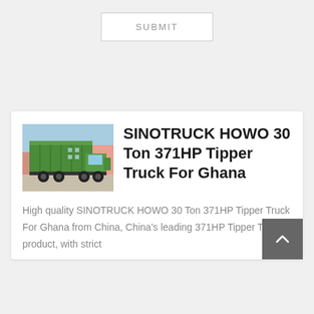SUBMIT
[Figure (photo): Green SINOTRUCK HOWO dump/tipper truck parked outdoors]
SINOTRUCK HOWO 30 Ton 371HP Tipper Truck For Ghana
High quality SINOTRUCK HOWO 30 Ton 371HP Tipper Truck For Ghana from China, China's leading 371HP Tipper Truck product, with strict